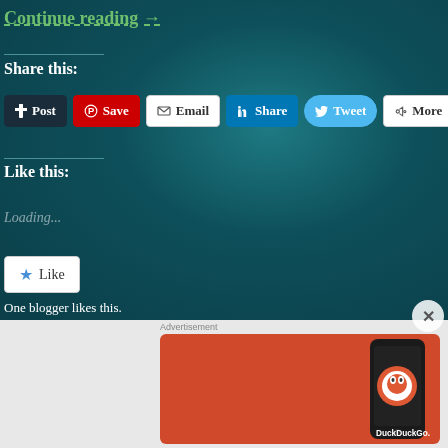Continue reading →
Share this:
Post | Save | Email | Share | Tweet | More
Like this:
Loading...
Like
One blogger likes this.
[Figure (screenshot): DuckDuckGo advertisement banner with orange background showing 'Search, browse, and email with more privacy. All in One Free App' with a phone mockup showing the DuckDuckGo app.]